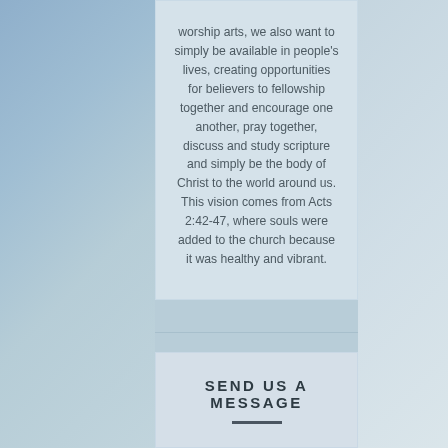worship arts, we also want to simply be available in people's lives, creating opportunities for believers to fellowship together and encourage one another, pray together, discuss and study scripture and simply be the body of Christ to the world around us. This vision comes from Acts 2:42-47, where souls were added to the church because it was healthy and vibrant.
SEND US A MESSAGE